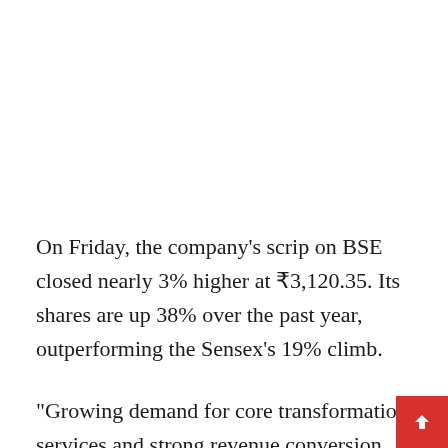On Friday, the company's scrip on BSE closed nearly 3% higher at ₹3,120.35. Its shares are up 38% over the past year, outperforming the Sensex's 19% climb.
“Growing demand for core transformation services and strong revenue conversion from earlier dea…